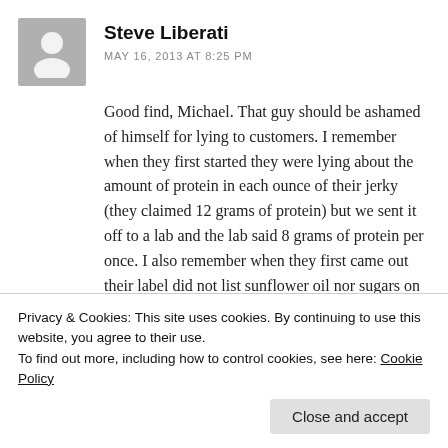[Figure (illustration): Grey avatar silhouette icon of a person]
Steve Liberati
MAY 16, 2013 AT 8:25 PM
Good find, Michael. That guy should be ashamed of himself for lying to customers. I remember when they first started they were lying about the amount of protein in each ounce of their jerky (they claimed 12 grams of protein) but we sent it off to a lab and the lab said 8 grams of protein per once. I also remember when they first came out their label did not list sunflower oil nor sugars on the back of the label, but then they went USDA and the label changed along with the
Privacy & Cookies: This site uses cookies. By continuing to use this website, you agree to their use.
To find out more, including how to control cookies, see here: Cookie Policy
Close and accept